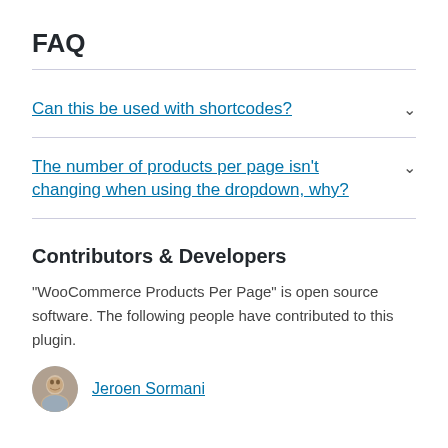FAQ
Can this be used with shortcodes?
The number of products per page isn't changing when using the dropdown, why?
Contributors & Developers
“WooCommerce Products Per Page” is open source software. The following people have contributed to this plugin.
Jeroen Sormani